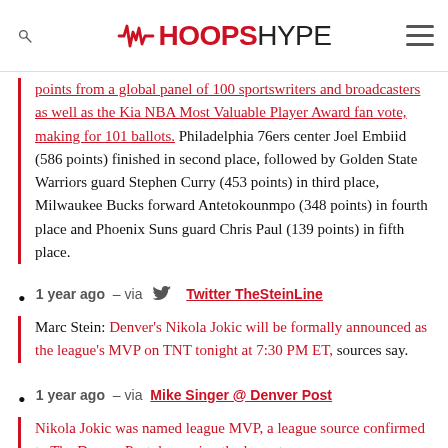HOOPSHYPE
points from a global panel of 100 sportswriters and broadcasters as well as the Kia NBA Most Valuable Player Award fan vote, making for 101 ballots. Philadelphia 76ers center Joel Embiid (586 points) finished in second place, followed by Golden State Warriors guard Stephen Curry (453 points) in third place, Milwaukee Bucks forward Antetokounmpo (348 points) in fourth place and Phoenix Suns guard Chris Paul (139 points) in fifth place.
1 year ago – via Twitter TheSteinLine
Marc Stein: Denver's Nikola Jokic will be formally announced as the league's MVP on TNT tonight at 7:30 PM ET, sources say.
1 year ago – via Mike Singer @ Denver Post
Nikola Jokic was named league MVP, a league source confirmed to The Denver Post, becoming the lowest